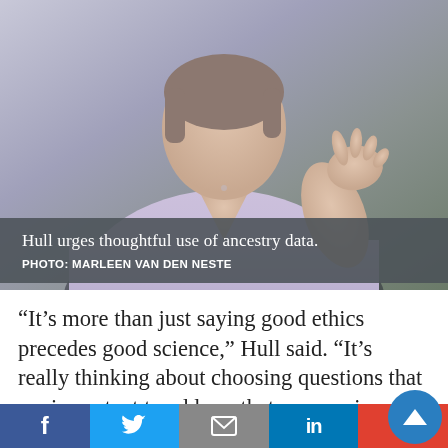[Figure (photo): Woman in lavender/purple v-neck top gesturing with right hand raised, photographed indoors. Background is blurred green/gray tones.]
Hull urges thoughtful use of ancestry data.
PHOTO: MARLEEN VAN DEN NESTE
“It’s more than just saying good ethics precedes good science,” Hull said. “It’s really thinking about choosing questions that are important to address that use precise scientific tools